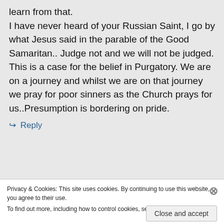learn from that.
I have never heard of your Russian Saint, I go by what Jesus said in the parable of the Good Samaritan.. Judge not and we will not be judged. This is a case for the belief in Purgatory. We are on a journey and whilst we are on that journey we pray for poor sinners as the Church prays for us..Presumption is bordering on pride.
↪ Reply
Privacy & Cookies: This site uses cookies. By continuing to use this website, you agree to their use.
To find out more, including how to control cookies, see here: Cookie Policy
Close and accept